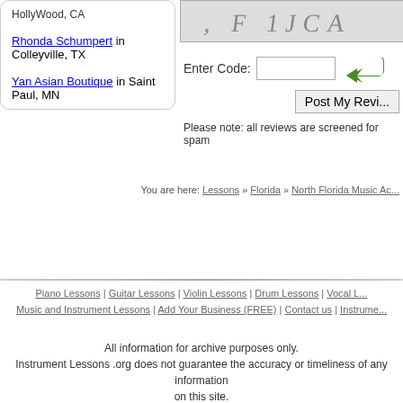Hollywood, CA
Rhonda Schumpert in Colleyville, TX
Yan Asian Boutique in Saint Paul, MN
[Figure (other): CAPTCHA image with distorted text reading approximately 'F1JCA']
Enter Code:
Post My Revi...
Please note: all reviews are screened for spam
You are here: Lessons » Florida » North Florida Music Ac...
Piano Lessons | Guitar Lessons | Violin Lessons | Drum Lessons | Vocal L...
Music and Instrument Lessons | Add Your Business (FREE) | Contact us | Instrume...
All information for archive purposes only.
Instrument Lessons .org does not guarantee the accuracy or timeliness of any information on this site.
Use at your own risk.